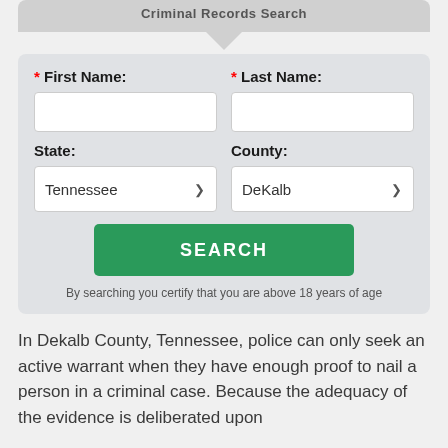Criminal Records Search
[Figure (screenshot): Web form with fields for First Name, Last Name, State (Tennessee), County (DeKalb), and a Search button]
By searching you certify that you are above 18 years of age
In Dekalb County, Tennessee, police can only seek an active warrant when they have enough proof to nail a person in a criminal case. Because the adequacy of the evidence is deliberated upon